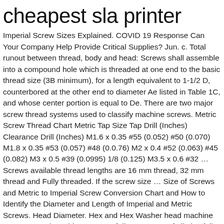cheapest sla printer
Imperial Screw Sizes Explained. COVID 19 Response Can Your Company Help Provide Critical Supplies? Jun. c. Total runout between thread, body and head: Screws shall assemble into a compound hole which is threaded at one end to the basic thread size (3B minimum), for a length equivalent to 1-1/2 D, counterbored at the other end to diameter Ae listed in Table 1C, and whose center portion is equal to De. There are two major screw thread systems used to classify machine screws. Metric Screw Thread Chart Metric Tap Size Tap Drill (Inches) Clearance Drill (Inches) M1.6 x 0.35 #55 (0.052) #50 (0.070) M1.8 x 0.35 #53 (0.057) #48 (0.0.76) M2 x 0.4 #52 (0.063) #45 (0.082) M3 x 0.5 #39 (0.0995) 1/8 (0.125) M3.5 x 0.6 #32 … Screws available thread lengths are 16 mm thread, 32 mm thread and Fully threaded. If the screw size … Size of Screws and Metric to Imperial Screw Conversion Chart and How to Identify the Diameter and Length of Imperial and Metric Screws. Head Diameter. Hex and Hex Washer head machine screws . Steel machine screws of diameters No. If all else fails, you may want to use our Drill Size Conversion Table or our Tap Drill Size Calculator.The information available from our sources is usually sufficient for all computer related drill or screw … For example, a … Length. Machine Screw 6-32 UNC 12-27 mm. Recessed Head Phillips…